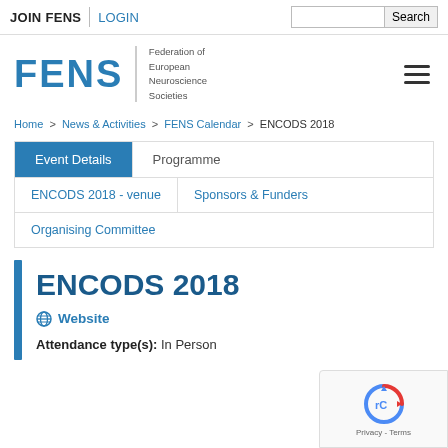JOIN FENS | LOGIN | Search
[Figure (logo): FENS - Federation of European Neuroscience Societies logo with hamburger menu icon]
Home > News & Activities > FENS Calendar > ENCODS 2018
Event Details | Programme
ENCODS 2018 - venue | Sponsors & Funders
Organising Committee
ENCODS 2018
Website
Attendance type(s): In Person